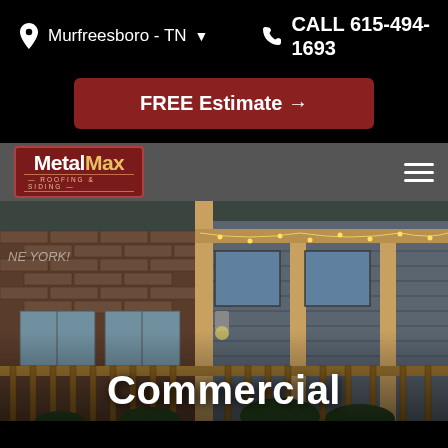Murfreesboro - TN   CALL 615-494-1693
FREE Estimate →
[Figure (logo): MetalMax Roofing & Siding logo — red background with white and gold text]
[Figure (photo): Commercial building exterior with wood framing, metal siding, string lights, and brick facade]
Commercial